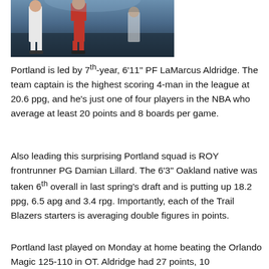[Figure (photo): Basketball players on court, one in red/white Portland Trail Blazers uniform, another in white, with arena crowd in background]
Portland is led by 7th-year, 6'11" PF LaMarcus Aldridge. The team captain is the highest scoring 4-man in the league at 20.6 ppg, and he's just one of four players in the NBA who average at least 20 points and 8 boards per game.
Also leading this surprising Portland squad is ROY frontrunner PG Damian Lillard. The 6'3" Oakland native was taken 6th overall in last spring's draft and is putting up 18.2 ppg, 6.5 apg and 3.4 rpg. Importantly, each of the Trail Blazers starters is averaging double figures in points.
Portland last played on Monday at home beating the Orlando Magic 125-110 in OT. Aldridge had 27 points, 10